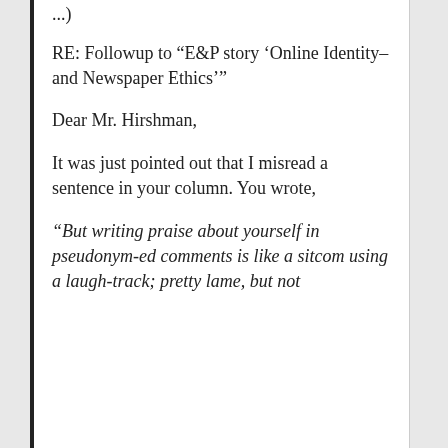RE: Followup to “E&P story ‘Online Identity–and Newspaper Ethics’”
Dear Mr. Hirshman,
It was just pointed out that I misread a sentence in your column. You wrote,
“But writing praise about yourself in pseudonym-ed comments is like a sitcom using a laugh-track; pretty lame, but not